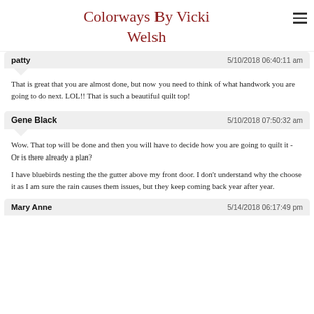Colorways By Vicki Welsh
patty   5/10/2018 06:40:11 am
That is great that you are almost done, but now you need to think of what handwork you are going to do next. LOL!! That is such a beautiful quilt top!
Gene Black   5/10/2018 07:50:32 am
Wow. That top will be done and then you will have to decide how you are going to quilt it - Or is there already a plan?

I have bluebirds nesting the the gutter above my front door. I don't understand why the choose it as I am sure the rain causes them issues, but they keep coming back year after year.
Mary Anne   5/14/2018 06:17:49 pm